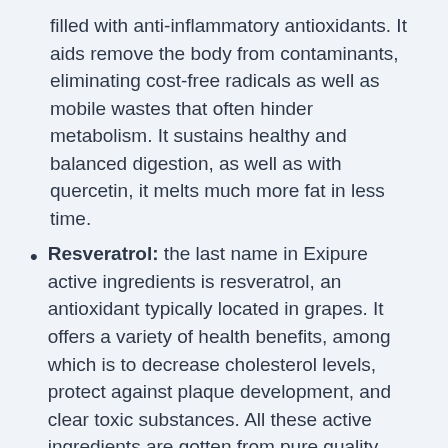filled with anti-inflammatory antioxidants. It aids remove the body from contaminants, eliminating cost-free radicals as well as mobile wastes that often hinder metabolism. It sustains healthy and balanced digestion, as well as with quercetin, it melts much more fat in less time.
Resveratrol: the last name in Exipure active ingredients is resveratrol, an antioxidant typically located in grapes. It offers a variety of health benefits, among which is to decrease cholesterol levels, protect against plaque development, and clear toxic substances. All these active ingredients are gotten from pure quality sources, and also nothing amongst them can create any type of side